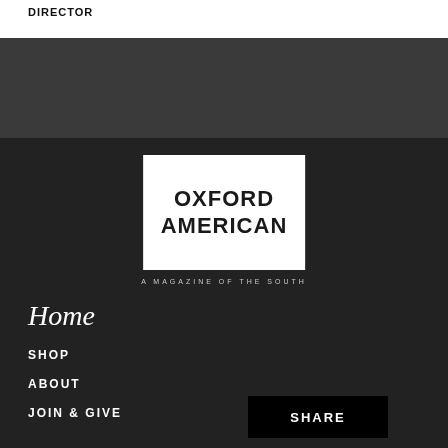DIRECTOR
[Figure (logo): Oxford American magazine logo — white box with bold black text reading OXFORD AMERICAN, tagline A MAGAZINE OF THE SOUTH]
Home
SHOP
ABOUT
JOIN & GIVE
SHARE